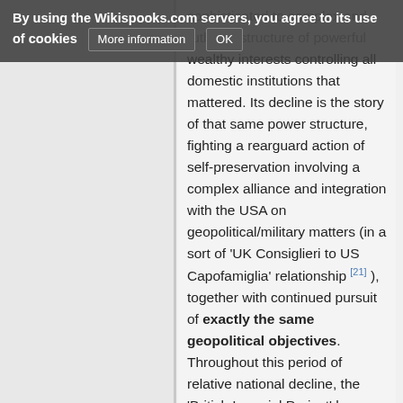By using the Wikispooks.com servers, you agree to its use of cookies   More information   OK
sophisticated to complex and ruthless structure of powerful wealthy interests controlling all domestic institutions that mattered. Its decline is the story of that same power structure, fighting a rearguard action of self-preservation involving a complex alliance and integration with the USA on geopolitical/military matters (in a sort of 'UK Consiglieri to US Capofamiglia' relationship [21] ), together with continued pursuit of exactly the same geopolitical objectives. Throughout this period of relative national decline, the 'British Imperial Project' has gradually